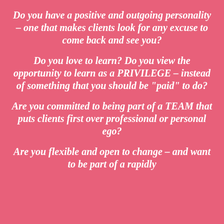Do you have a positive and outgoing personality – one that makes clients look for any excuse to come back and see you?
Do you love to learn? Do you view the opportunity to learn as a PRIVILEGE – instead of something that you should be "paid" to do?
Are you committed to being part of a TEAM that puts clients first over professional or personal ego?
Are you flexible and open to change – and want to be part of a rapidly